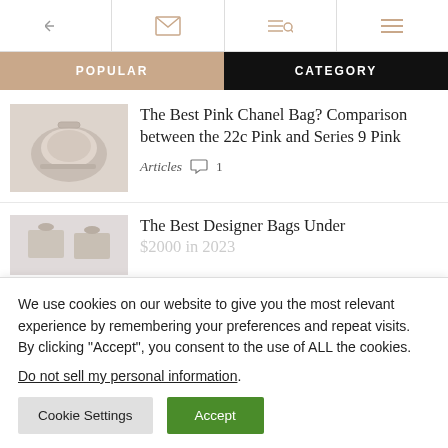← [mail icon] [search icon] [menu icon]
POPULAR | CATEGORY
The Best Pink Chanel Bag? Comparison between the 22c Pink and Series 9 Pink
Articles  1
The Best Designer Bags Under $2000 in 2023
We use cookies on our website to give you the most relevant experience by remembering your preferences and repeat visits. By clicking "Accept", you consent to the use of ALL the cookies.
Do not sell my personal information.
Cookie Settings  Accept